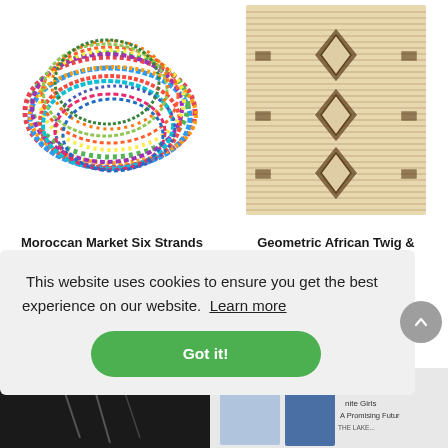[Figure (photo): Colorful multi-strand beaded Zulugrass necklace/bracelet coiled in a circle showing many strands of multicolored small beads in red, blue, green, yellow and other colors]
Moroccan Market Six Strands Zulugrass
$48.00
[Figure (photo): Geometric African Twig and Mudcloth Table Runner — a woven textile with horizontal twig/straw texture and geometric mudcloth pattern in brown/tan colors with diamond and geometric motifs]
Geometric African Twig & Mudcloth Table Runner
$68.00
🍪 This website uses cookies to ensure you get the best experience on our website. Learn more
Got it!
[Figure (photo): Partial view of product at bottom left (dark/black item)]
[Figure (photo): Partial view of book at bottom right with text 'A Promising Future' and partial author text]